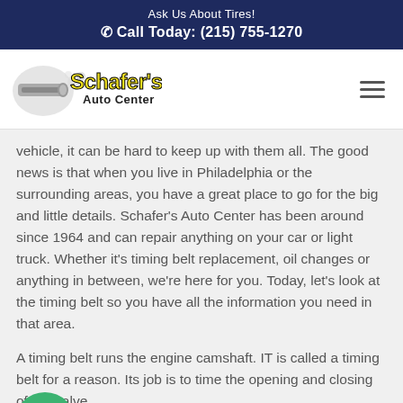Ask Us About Tires!
☎ Call Today: (215) 755-1270
[Figure (logo): Schafer's Auto Center logo with yellow stylized text and graphic emblem]
vehicle, it can be hard to keep up with them all. The good news is that when you live in Philadelphia or the surrounding areas, you have a great place to go for the big and little details. Schafer's Auto Center has been around since 1964 and can repair anything on your car or light truck. Whether it's timing belt replacement, oil changes or anything in between, we're here for you. Today, let's look at the timing belt so you have all the information you need in that area.
A timing belt runs the engine camshaft. IT is called a timing belt for a reason. Its job is to time the opening and closing of the valve